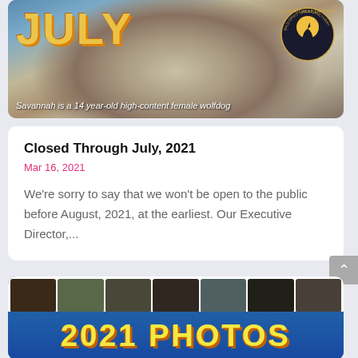[Figure (photo): Wolf/wolfdog photo banner with 'JULY' text in yellow and Wild Spirit Wolf Sanctuary logo, with caption 'Savannah is a 14 year-old high-content female wolfdog']
Closed Through July, 2021
Mar 16, 2021
We're sorry to say that we won't be open to the public before August, 2021, at the earliest. Our Executive Director,...
[Figure (photo): Photo collage banner with multiple wolf photos and large yellow text '2021 PHOTOS' on blue background]